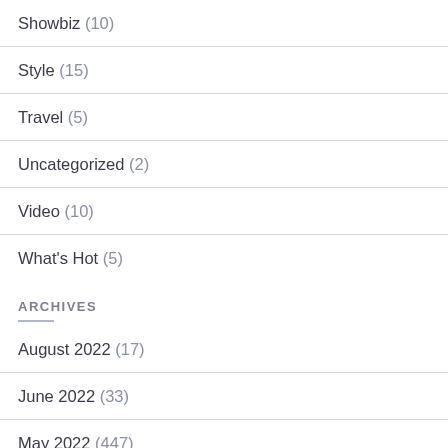Showbiz (10)
Style (15)
Travel (5)
Uncategorized (2)
Video (10)
What's Hot (5)
ARCHIVES
August 2022 (17)
June 2022 (33)
May 2022 (447)